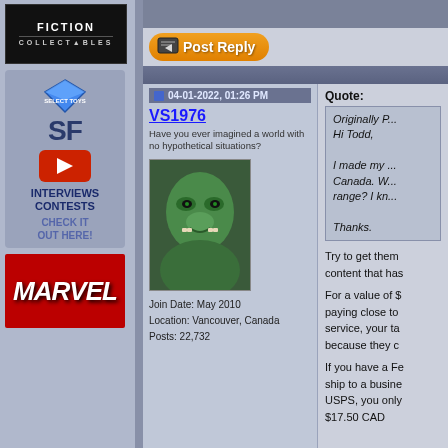[Figure (screenshot): Fiction Collectibles logo - black background with white text]
[Figure (logo): Diamond Select Toys logo with SF YouTube channel ad - INTERVIEWS CONTESTS CHECK IT OUT HERE!]
[Figure (logo): Marvel logo red background]
04-01-2022, 01:26 PM
VS1976
Have you ever imagined a world with no hypothetical situations?
[Figure (photo): Hulk avatar image - green CGI character]
Join Date: May 2010
Location: Vancouver, Canada
Posts: 22,732
Quote:
Originally P...
Hi Todd,

I made my ... Canada. W... range? I kn...

Thanks.
Try to get them content that has
For a value of $ paying close to service, your ta because they c
If you have a Fe ship to a busine USPS, you only $17.50 CAD